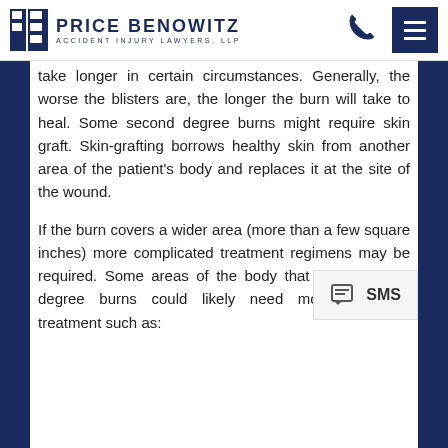Price Benowitz Accident Injury Lawyers, LLP
take longer in certain circumstances. Generally, the worse the blisters are, the longer the burn will take to heal. Some second degree burns might require skin graft. Skin-grafting borrows healthy skin from another area of the patient's body and replaces it at the site of the wound.
If the burn covers a wider area (more than a few square inches) more complicated treatment regimens may be required. Some areas of the body that suffer second degree burns could likely need more extensive treatment such as: